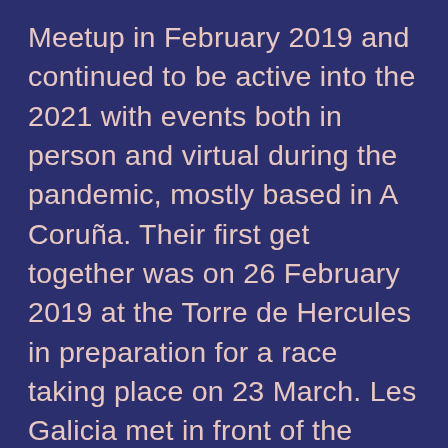Meetup in February 2019 and continued to be active into the 2021 with events both in person and virtual during the pandemic, mostly based in A Coruña. Their first get together was on 26 February 2019 at the Torre de Hercules in preparation for a race taking place on 23 March. Les Galicia met in front of the Obelisco before going on to go together as a group to participate in the #8M International Women's Day of Labor protest events in 2019. The group held a number of events at Berbiriana featuring presentations of works by lesbian authors.